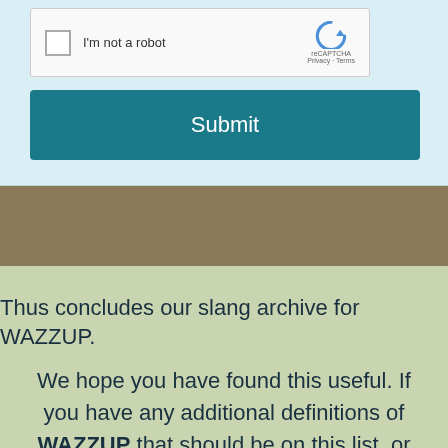[Figure (screenshot): reCAPTCHA widget with checkbox labeled 'I'm not a robot' and reCAPTCHA logo with Privacy and Terms links]
[Figure (screenshot): Teal Submit button]
Thus concludes our slang archive for WAZZUP.
We hope you have found this useful. If you have any additional definitions of WAZZUP that should be on this list, or know of any